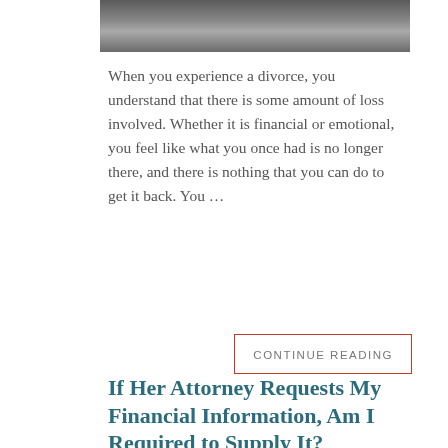[Figure (photo): Partial photo of person working at laptop, cropped at top of page]
When you experience a divorce, you understand that there is some amount of loss involved. Whether it is financial or emotional, you feel like what you once had is no longer there, and there is nothing that you can do to get it back. You …
CONTINUE READING
If Her Attorney Requests My Financial Information, Am I Required to Supply It?